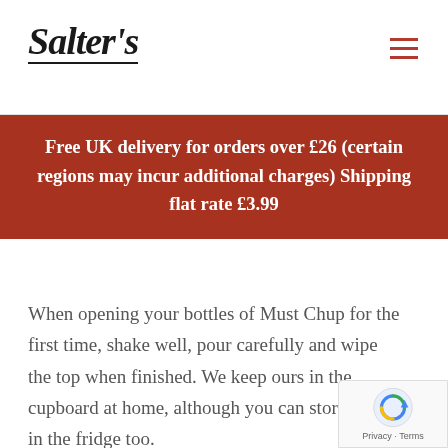Salter's
Free UK delivery for orders over £26 (certain regions may incur additional charges) Shipping flat rate £3.99
When opening your bottles of Must Chup for the first time, shake well, pour carefully and wipe the top when finished. We keep ours in the cupboard at home, although you can store them in the fridge too.
Comments from the Great Taste Judges
Although our Big Kick sauce was not awarded a